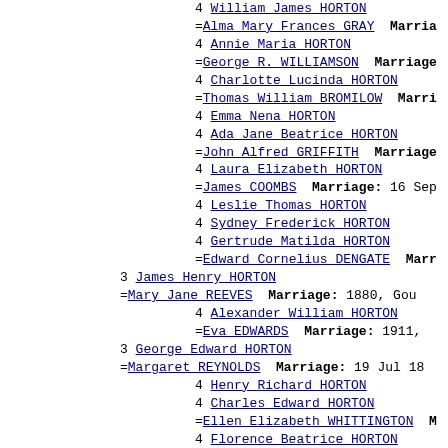4 William James HORTON
=Alma Mary Frances GRAY  Marriage:
4 Annie Maria HORTON
=George R. WILLIAMSON  Marriage:
4 Charlotte Lucinda HORTON
=Thomas William BROMILOW  Marr:
4 Emma Nena HORTON
4 Ada Jane Beatrice HORTON
=John Alfred GRIFFITH  Marriage:
4 Laura Elizabeth HORTON
=James COOMBS  Marriage: 16 Sep
4 Leslie Thomas HORTON
4 Sydney Frederick HORTON
4 Gertrude Matilda HORTON
=Edward Cornelius DENGATE  Marr
3 James Henry HORTON
=Mary Jane REEVES  Marriage: 1880, Gou
4 Alexander William HORTON
=Eva EDWARDS  Marriage: 1911,
3 George Edward HORTON
=Margaret REYNOLDS  Marriage: 19 Jul 18
4 Henry Richard HORTON
4 Charles Edward HORTON
=Ellen Elizabeth WHITTINGTON  M
4 Florence Beatrice HORTON
=Arthur Samuel ELDRIDGE  Marria
4 Elizabeth Margaret HORTON
=Edward HUMPHRIES  Marriage: 19
4 Mary Anne HORTON
4 Lucy Matilda HORTON